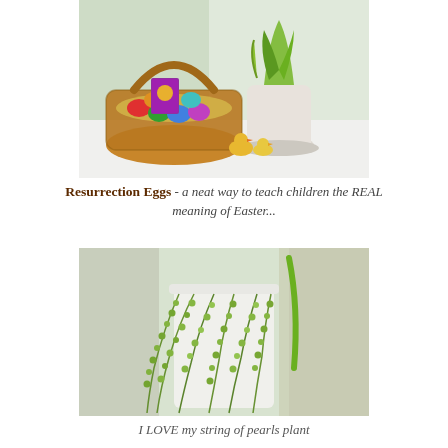[Figure (photo): Easter basket filled with colorful plastic eggs and a Resurrection Eggs box, next to a white ceramic pot with a green succulent plant and two small yellow duck figurines on a white surface by a window.]
Resurrection Eggs - a neat way to teach children the REAL meaning of Easter...
[Figure (photo): A white pot with a string of pearls succulent plant whose long green bead-like strands cascade down, placed on a windowsill with natural light.]
I LOVE my string of pearls plant